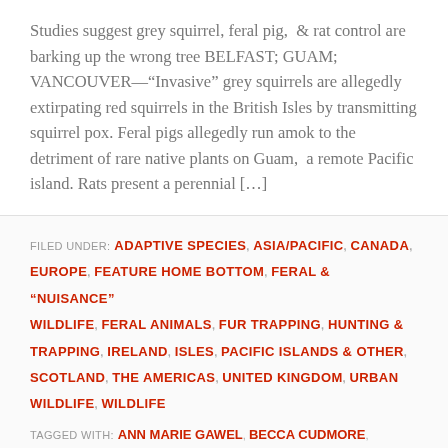Studies suggest grey squirrel, feral pig,  & rat control are barking up the wrong tree BELFAST; GUAM;  VANCOUVER—"Invasive" grey squirrels are allegedly extirpating red squirrels in the British Isles by transmitting squirrel pox. Feral pigs allegedly run amok to the detriment of rare native plants on Guam,  a remote Pacific island. Rats present a perennial […]
FILED UNDER: ADAPTIVE SPECIES, ASIA/PACIFIC, CANADA, EUROPE, FEATURE HOME BOTTOM, FERAL & "NUISANCE" WILDLIFE, FERAL ANIMALS, FUR TRAPPING, HUNTING & TRAPPING, IRELAND, ISLES, PACIFIC ISLANDS & OTHER, SCOTLAND, THE AMERICAS, UNITED KINGDOM, URBAN WILDLIFE, WILDLIFE
TAGGED WITH: ANN MARIE GAWEL, BECCA CUDMORE, BRANDON KEIM, CHELSEA HIMSWORTH, DAVID TOSH,